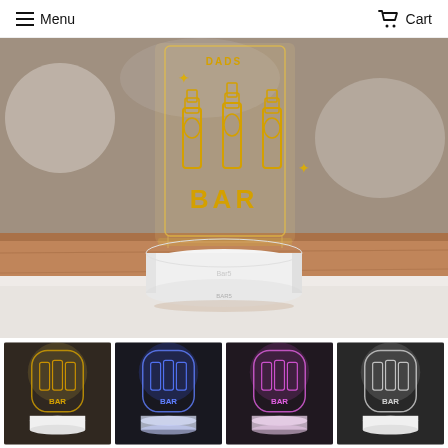Menu   Cart
[Figure (photo): A 3D LED acrylic bar sign with 'BAR' text and beer bottle graphics, lit in warm yellow/gold color, sitting on a white circular LED base on a wooden surface]
[Figure (photo): Small thumbnail: 3D LED bar sign lit in warm white/yellow light]
[Figure (photo): Small thumbnail: 3D LED bar sign lit in blue/purple light]
[Figure (photo): Small thumbnail: 3D LED bar sign lit in pink/purple light]
[Figure (photo): Small thumbnail: 3D LED bar sign with white/cool light]